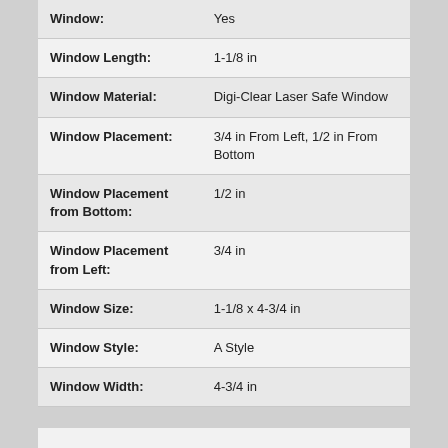| Property | Value |
| --- | --- |
| Window: | Yes |
| Window Length: | 1-1/8 in |
| Window Material: | Digi-Clear Laser Safe Window |
| Window Placement: | 3/4 in From Left, 1/2 in From Bottom |
| Window Placement from Bottom: | 1/2 in |
| Window Placement from Left: | 3/4 in |
| Window Size: | 1-1/8 x 4-3/4 in |
| Window Style: | A Style |
| Window Width: | 4-3/4 in |